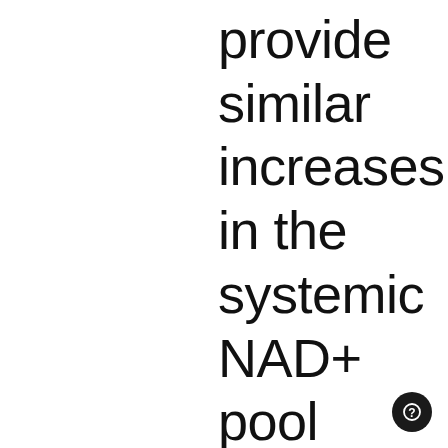provide similar increases in the systemic NAD+ pool [10]. Newer research into oral NAD+ has